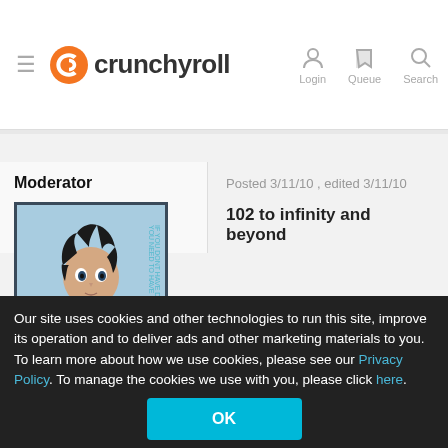crunchyroll — Login, Queue, Search
Moderator
[Figure (photo): Anime/game character avatar image — dark-haired character against a cloudy sky background with vertical text overlay]
Posted 3/11/10 , edited 3/11/10
102 to infinity and beyond
Our site uses cookies and other technologies to run this site, improve its operation and to deliver ads and other marketing materials to you. To learn more about how we use cookies, please see our Privacy Policy. To manage the cookies we use with you, please click here.
OK